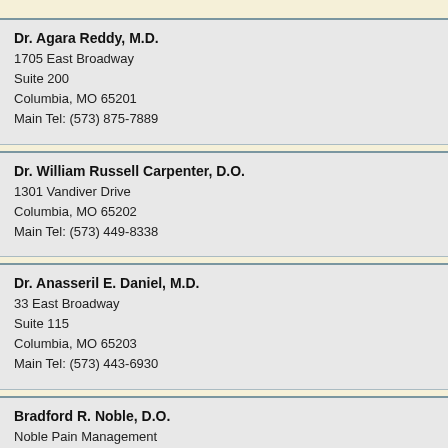Dr. Agara Reddy, M.D.
1705 East Broadway
Suite 200
Columbia, MO 65201
Main Tel: (573) 875-7889
Dr. William Russell Carpenter, D.O.
1301 Vandiver Drive
Columbia, MO 65202
Main Tel: (573) 449-8338
Dr. Anasseril E. Daniel, M.D.
33 East Broadway
Suite 115
Columbia, MO 65203
Main Tel: (573) 443-6930
Bradford R. Noble, D.O.
Noble Pain Management
811 N Keene Street
Columbia, MO 65201
Main Tel: 573-777-4878